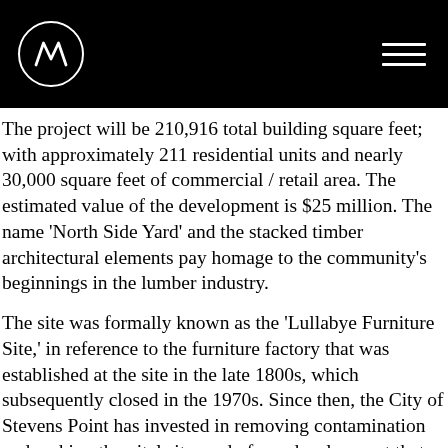Marriott logo and navigation header
The project will be 210,916 total building square feet; with approximately 211 residential units and nearly 30,000 square feet of commercial / retail area. The estimated value of the development is $25 million. The name ‘North Side Yard’ and the stacked timber architectural elements pay homage to the community’s beginnings in the lumber industry.
The site was formally known as the ‘Lullabye Furniture Site,’ in reference to the furniture factory that was established at the site in the late 1800s, which subsequently closed in the 1970s. Since then, the City of Stevens Point has invested in removing contamination and making the vital site ready for redevelopment that would help position downtown Stevens Point as both a destination and a home for residents and visitors.